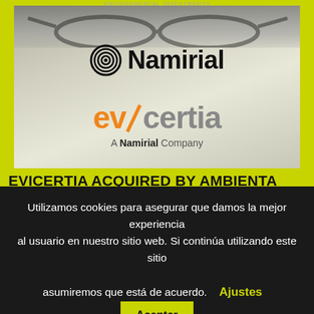ENVIRONMENTAL INVESTMENTS
[Figure (logo): Photo background with glasses, Namirial logo (concentric circles icon + Namirial text), and Evicertia logo (orange/grey text) with 'A Namirial Company' subtitle]
EVICERTIA ACQUIRED BY AMBIENTA - BAKER TILLY ADVISES EUROPEAN ENVIRONMENTAL SUSTAINABILITY INVESTOR ON ITS FIRST ACQUISITION IN SPAIN
Utilizamos cookies para asegurar que damos la mejor experiencia al usuario en nuestro sitio web. Si continúa utilizando este sitio asumiremos que está de acuerdo.
Ajustes
Aceptar
Leer más